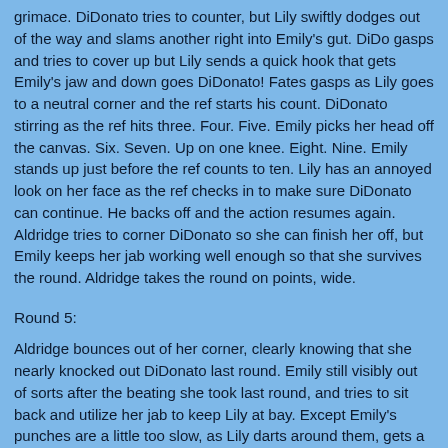grimace. DiDonato tries to counter, but Lily swiftly dodges out of the way and slams another right into Emily's gut. DiDo gasps and tries to cover up but Lily sends a quick hook that gets Emily's jaw and down goes DiDonato! Fates gasps as Lily goes to a neutral corner and the ref starts his count. DiDonato stirring as the ref hits three. Four. Five. Emily picks her head off the canvas. Six. Seven. Up on one knee. Eight. Nine. Emily stands up just before the ref counts to ten. Lily has an annoyed look on her face as the ref checks in to make sure DiDonato can continue. He backs off and the action resumes again. Aldridge tries to corner DiDonato so she can finish her off, but Emily keeps her jab working well enough so that she survives the round. Aldridge takes the round on points, wide.
Round 5:
Aldridge bounces out of her corner, clearly knowing that she nearly knocked out DiDonato last round. Emily still visibly out of sorts after the beating she took last round, and tries to sit back and utilize her jab to keep Lily at bay. Except Emily's punches are a little too slow, as Lily darts around them, gets a strike in, and bounces out without much punishment for the first minute. In the second, Emily tries to take the initiative, landing a punch straight to Lily's mouth, forcing Aldridge to retreat. Emily pursues, and gets creamed by a right hook by Aldridge! DiDonato gets her guard up before Lily can punish her too hard, but Lily gets several body shots in as she forcing DiDonato into the ropes. Aldridge gets in several punches before DiDo finally is able to clinch, and the ref is forced to break the hold. DiDonato again tries to keep her distance for the final forty-five seconds of the round, and when the bell rings, it's another round to Lily on points,